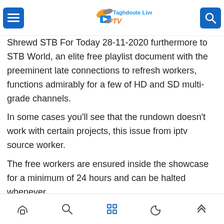Taghdoute Live IPTV
The documents contain playlists for channels that you simply can download for free of charge a day from here on (Iptv taghdoute).
Shrewd STB For Today 28-11-2020 furthermore to STB World, an elite free playlist document with the preeminent late connections to refresh workers, functions admirably for a few of HD and SD multi-grade channels.
In some cases you'll see that the rundown doesn't work with certain projects, this issue from iptv source worker.
The free workers are ensured inside the showcase for a minimum of 24 hours and can be halted whenever.
Bottom navigation bar with home, search, grid, moon, and up-arrow icons